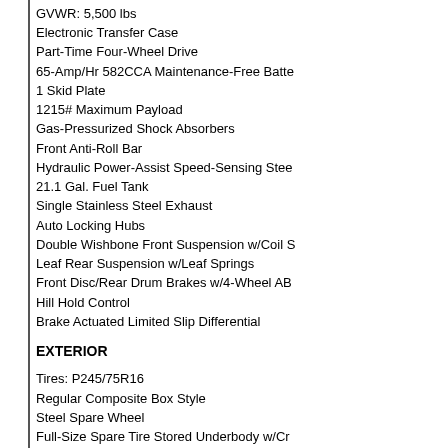GVWR: 5,500 lbs
Electronic Transfer Case
Part-Time Four-Wheel Drive
65-Amp/Hr 582CCA Maintenance-Free Batte
1 Skid Plate
1215# Maximum Payload
Gas-Pressurized Shock Absorbers
Front Anti-Roll Bar
Hydraulic Power-Assist Speed-Sensing Stee
21.1 Gal. Fuel Tank
Single Stainless Steel Exhaust
Auto Locking Hubs
Double Wishbone Front Suspension w/Coil S
Leaf Rear Suspension w/Leaf Springs
Front Disc/Rear Drum Brakes w/4-Wheel AB
Hill Hold Control
Brake Actuated Limited Slip Differential
EXTERIOR
Tires: P245/75R16
Regular Composite Box Style
Steel Spare Wheel
Full-Size Spare Tire Stored Underbody w/Cr
Clearcoat Paint
Black Front Bumper w/1 Tow Hook
Black Rear Step Bumper
Black Side Windows Trim, Black Front Wind
Black Door Handles
Black Fender Flares
Fixed Rear Window
Light Tinted Glass